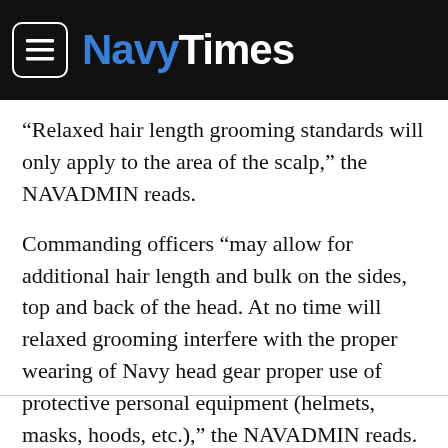[Figure (logo): Navy Times website header with hamburger menu icon and Navy Times logo on black background]
“Relaxed hair length grooming standards will only apply to the area of the scalp,” the NAVADMIN reads.
Commanding officers “may allow for additional hair length and bulk on the sides, top and back of the head. At no time will relaxed grooming interfere with the proper wearing of Navy head gear proper use of protective personal equipment (helmets, masks, hoods, etc.),” the NAVADMIN reads.